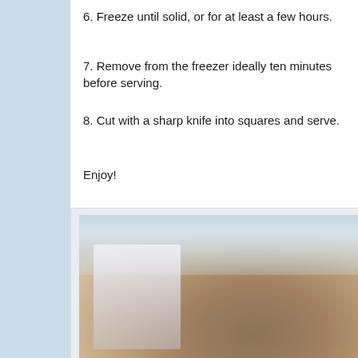6. Freeze until solid, or for at least a few hours.
7. Remove from the freezer ideally ten minutes before serving.
8. Cut with a sharp knife into squares and serve.
Enjoy!
[Figure (photo): Photo of stacked frozen dessert squares (ice cream fudge bars) cut into pieces, stacked on a white surface with a light blue/white background]